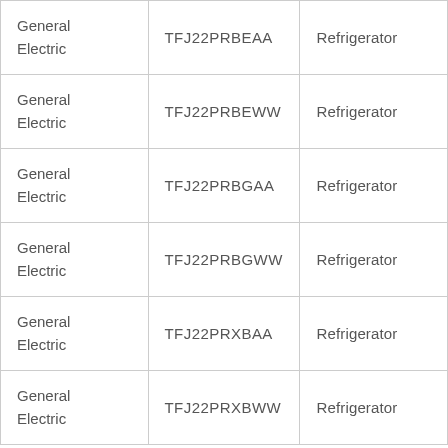| General Electric | TFJ22PRBEAA | Refrigerator |
| General Electric | TFJ22PRBEWW | Refrigerator |
| General Electric | TFJ22PRBGAA | Refrigerator |
| General Electric | TFJ22PRBGWW | Refrigerator |
| General Electric | TFJ22PRXBAA | Refrigerator |
| General Electric | TFJ22PRXBWW | Refrigerator |